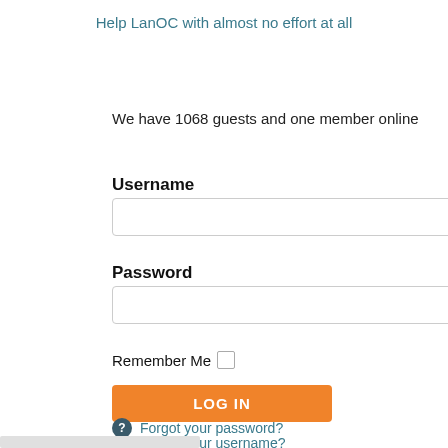Help LanOC with almost no effort at all
We have 1068 guests and one member online
Username
Password
Remember Me
LOG IN
Forgot your password?
Forgot your username?
Create an account